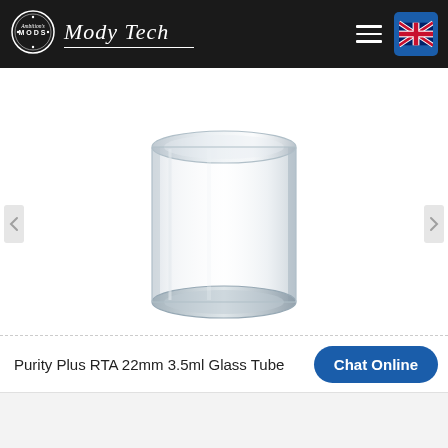Mody Tech
[Figure (photo): A clear cylindrical glass tube product (Purity Plus RTA 22mm 3.5ml Glass Tube) displayed on a white background.]
Purity Plus RTA 22mm 3.5ml Glass Tube